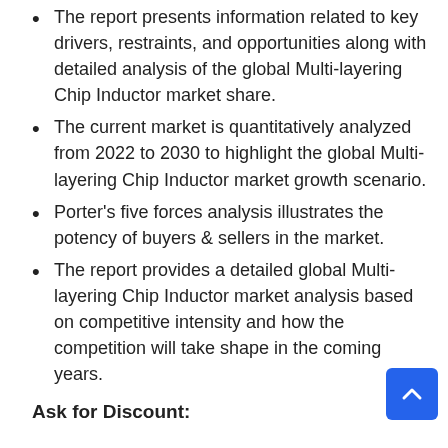The report presents information related to key drivers, restraints, and opportunities along with detailed analysis of the global Multi-layering Chip Inductor market share.
The current market is quantitatively analyzed from 2022 to 2030 to highlight the global Multi-layering Chip Inductor market growth scenario.
Porter's five forces analysis illustrates the potency of buyers & sellers in the market.
The report provides a detailed global Multi-layering Chip Inductor market analysis based on competitive intensity and how the competition will take shape in the coming years.
Ask for Discount: